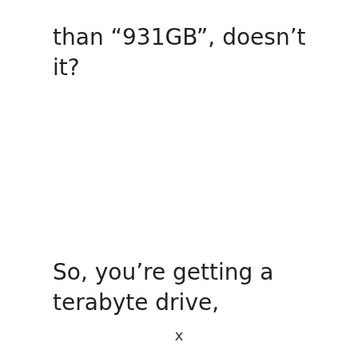than “931GB”, doesn’t it?
So, you’re getting a terabyte drive,
x